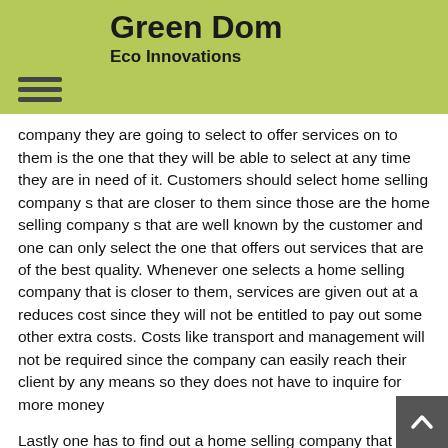Green Dom
Eco Innovations
company they are going to select to offer services on to them is the one that they will be able to select at any time they are in need of it. Customers should select home selling company s that are closer to them since those are the home selling company s that are well known by the customer and one can only select the one that offers out services that are of the best quality. Whenever one selects a home selling company that is closer to them, services are given out at a reduces cost since they will not be entitled to pay out some other extra costs. Costs like transport and management will not be required since the company can easily reach their client by any means so they does not have to inquire for more money
Lastly one has to find out a home selling company that is experienced on the services that are going to be rendered out. Customers have been asked to ensure that they have to check out the experience of the home selling company that they are going to hire. Home selling company s that have been there in the industry for a longer time are said to have experience on the services that